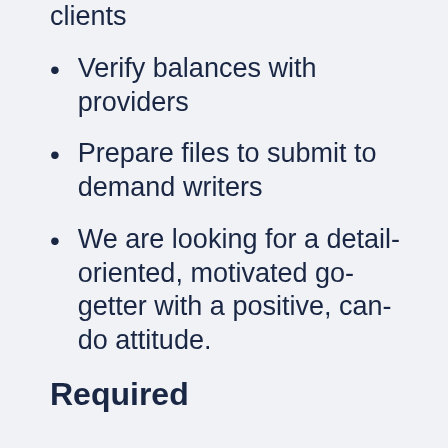clients
Verify balances with providers
Prepare files to submit to demand writers
We are looking for a detail-oriented, motivated go-getter with a positive, can-do attitude.
Required